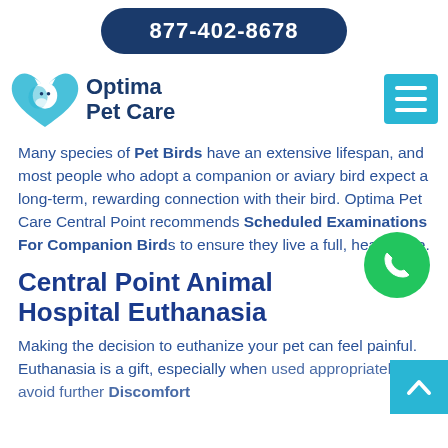877-402-8678
[Figure (logo): Optima Pet Care logo with stylized cat and dog inside blue heart/wings shape]
Many species of Pet Birds have an extensive lifespan, and most people who adopt a companion or aviary bird expect a long-term, rewarding connection with their bird. Optima Pet Care Central Point recommends Scheduled Examinations For Companion Birds to ensure they live a full, healthy life.
Central Point Animal Hospital Euthanasia
Making the decision to euthanize your pet can feel painful. Euthanasia is a gift, especially when used appropriately to avoid further Discomfort